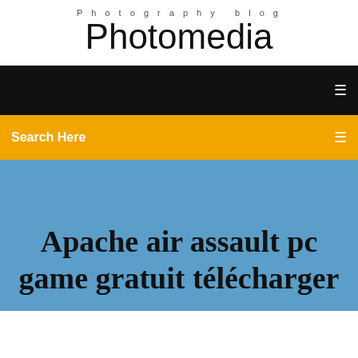Photography blog
Photomedia
Search Here
Apache air assault pc game gratuit télécharger